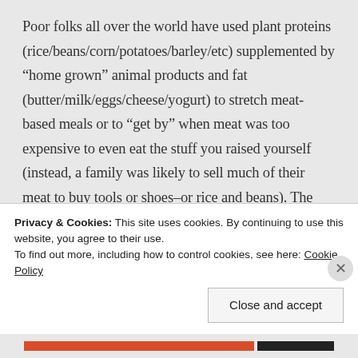Poor folks all over the world have used plant proteins (rice/beans/corn/potatoes/barley/etc) supplemented by “home grown” animal products and fat (butter/milk/eggs/cheese/yogurt) to stretch meat-based meals or to “get by” when meat was too expensive to even eat the stuff you raised yourself (instead, a family was likely to sell much of their meat to buy tools or shoes–or rice and beans). The switch to meat–in
Privacy & Cookies: This site uses cookies. By continuing to use this website, you agree to their use.
To find out more, including how to control cookies, see here: Cookie Policy
Close and accept